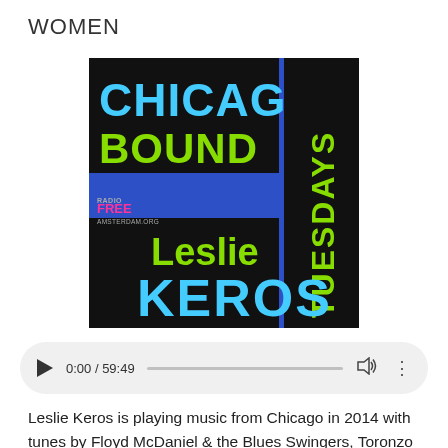WOMEN
[Figure (illustration): Album art for Chicago Bound Tuesdays hosted by Leslie Keros on Radio Free Amsterdam. Blue background with black rectangles. Top area shows 'CHICAGO' in cyan bold letters and 'BOUND' in green bold letters on a black banner. Right side has a vertical black banner with 'TUESDAYS' in green rotated text. Bottom right has a black rectangle with 'Leslie' in green and 'KEROS' in cyan large letters. Bottom left shows 'RADIO FREE AMSTERDAM' logo in small colorful text.]
[Figure (screenshot): Audio player UI showing play button, time 0:00 / 59:49, progress bar, volume icon, and more options icon on a light gray rounded pill background.]
Leslie Keros is playing music from Chicago in 2014 with tunes by Floyd McDaniel & the Blues Swingers, Toronzo Cannon, Muddy Waters, Howlin' Wolf, Junior Wells & Buddy Guy, Sam Lay, Chuck Berry, Will Ezell, Jazz Gillum